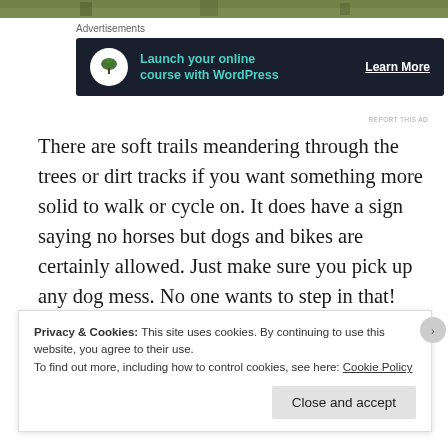[Figure (photo): Top strip of a forest/woodland trail photo, showing green trees]
Advertisements
[Figure (other): Advertisement banner: dark navy background with circular white icon (bonsai tree), teal text 'Launch your online course with WordPress', white underlined 'Learn More' link]
REPORT THIS AD
There are soft trails meandering through the trees or dirt tracks if you want something more solid to walk or cycle on. It does have a sign saying no horses but dogs and bikes are certainly allowed. Just make sure you pick up any dog mess. No one wants to step in that!
Privacy & Cookies: This site uses cookies. By continuing to use this website, you agree to their use.
To find out more, including how to control cookies, see here: Cookie Policy
Close and accept